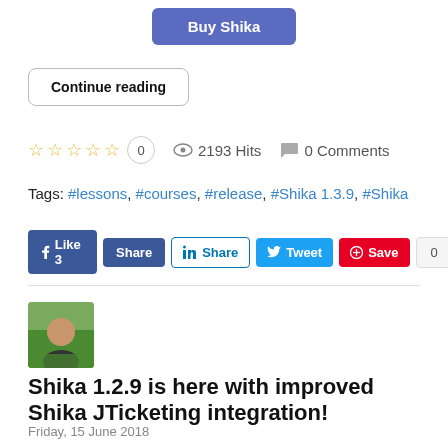[Figure (other): Blue 'Buy Shika' button at top center]
Continue reading
☆☆☆☆☆  0    2193 Hits    0 Comments
Tags: #lessons, #courses, #release, #Shika 1.3.9, #Shika
[Figure (other): Social sharing buttons: Like 3, Share (Facebook), Share (LinkedIn), Tweet, Save, 0]
[Figure (photo): Author avatar photo - man outdoors]
Shika 1.2.9 is here with improved Shika JTicketing integration!
Friday, 15 June 2018
Amey Deshmukh
Shika - LMS for Joomla